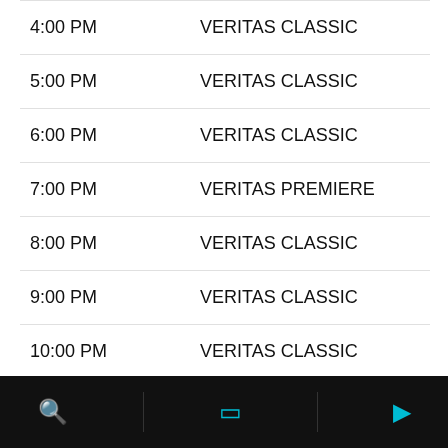4:00 PM   VERITAS CLASSIC
5:00 PM   VERITAS CLASSIC
6:00 PM   VERITAS CLASSIC
7:00 PM   VERITAS PREMIERE
8:00 PM   VERITAS CLASSIC
9:00 PM   VERITAS CLASSIC
10:00 PM  VERITAS CLASSIC
11:00 PM  VERITAS PREMIERE [ENCORE]